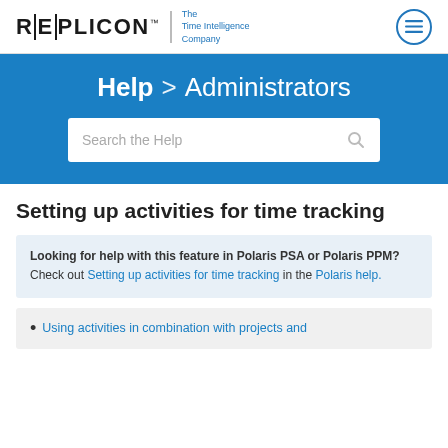REPLICON | The Time Intelligence Company
Help > Administrators
Setting up activities for time tracking
Looking for help with this feature in Polaris PSA or Polaris PPM? Check out Setting up activities for time tracking in the Polaris help.
Using activities in combination with projects and